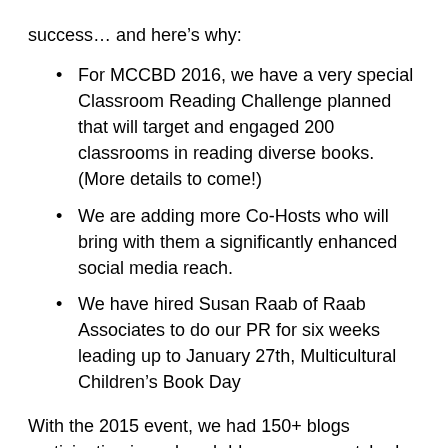success… and here's why:
For MCCBD 2016, we have a very special Classroom Reading Challenge planned that will target and engaged 200 classrooms in reading diverse books. (More details to come!)
We are adding more Co-Hosts who will bring with them a significantly enhanced social media reach.
We have hired Susan Raab of Raab Associates to do our PR for six weeks leading up to January 27th, Multicultural Children's Book Day
With the 2015 event, we had 150+ blogs participating in and each blogger was matched with an author or publishers. These bloggers received a multicultural children's book to review on their blog. They day of